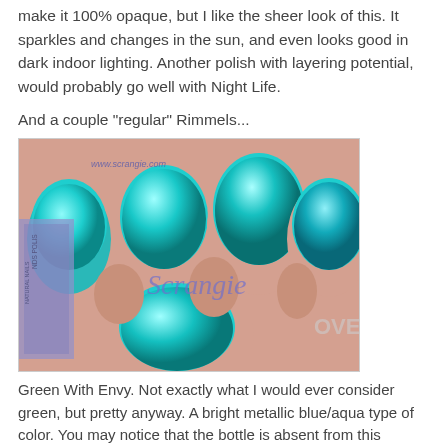make it 100% opaque, but I like the sheer look of this. It sparkles and changes in the sun, and even looks good in dark indoor lighting. Another polish with layering potential, would probably go well with Night Life.
And a couple "regular" Rimmels...
[Figure (photo): Close-up photo of a hand with nails painted in a bright metallic teal/aqua nail polish. A nail polish bottle partially visible on the left side. Watermark text 'www.scrangie.com' and 'Scrangie' visible on the image.]
Green With Envy. Not exactly what I would ever consider green, but pretty anyway. A bright metallic blue/aqua type of color. You may notice that the bottle is absent from this picture. That it because somehow I accidentally throw it